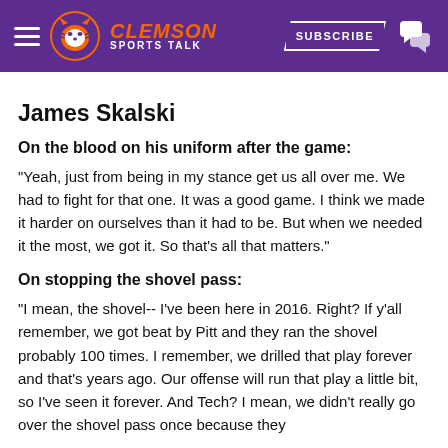Clemson Sports Talk — SUBSCRIBE
James Skalski
On the blood on his uniform after the game:
"Yeah, just from being in my stance get us all over me. We had to fight for that one. It was a good game. I think we made it harder on ourselves than it had to be. But when we needed it the most, we got it. So that's all that matters."
On stopping the shovel pass:
"I mean, the shovel-- I've been here in 2016. Right? If y'all remember, we got beat by Pitt and they ran the shovel probably 100 times. I remember, we drilled that play forever and that's years ago. Our offense will run that play a little bit, so I've seen it forever. And Tech? I mean, we didn't really go over the shovel pass once because they